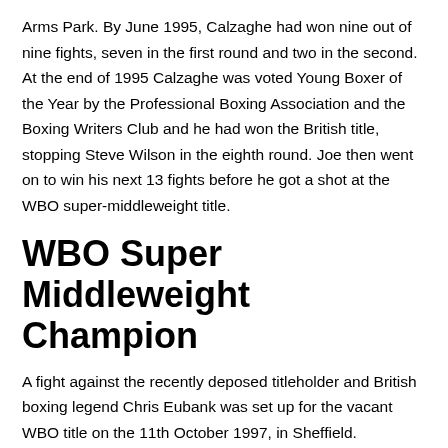Arms Park. By June 1995, Calzaghe had won nine out of nine fights, seven in the first round and two in the second. At the end of 1995 Calzaghe was voted Young Boxer of the Year by the Professional Boxing Association and the Boxing Writers Club and he had won the British title, stopping Steve Wilson in the eighth round. Joe then went on to win his next 13 fights before he got a shot at the WBO super-middleweight title.
WBO Super Middleweight Champion
A fight against the recently deposed titleholder and British boxing legend Chris Eubank was set up for the vacant WBO title on the 11th October 1997, in Sheffield. Calzaghe emerged victorious over the two-time WBO champion. Notable wins included This was followed by notable victories over Robin Reid, Charles Brewer, Mario Veit (twice) and Evans Ashira. His scheduled bout with IBF world champion Jeff Lacy for 5th November 2005 was initially cancelled due to the break sustained to the metacarpal in his left